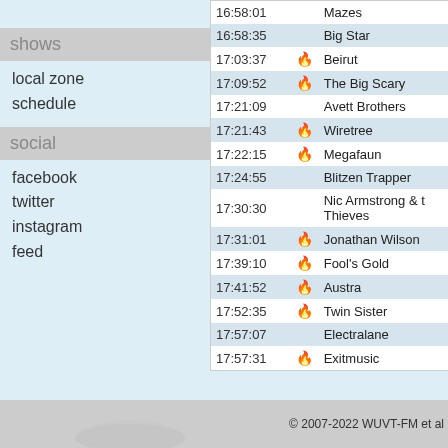charts
shows
local zone
schedule
social
facebook
twitter
instagram
feed
| Time |  | Artist |
| --- | --- | --- |
| 16:58:01 |  | Mazes |
| 16:58:35 |  | Big Star |
| 17:03:37 | 🔥 | Beirut |
| 17:09:52 | 🔥 | The Big Scary |
| 17:21:09 |  | Avett Brothers |
| 17:21:43 | 🔥 | Wiretree |
| 17:22:15 | 🔥 | Megafaun |
| 17:24:55 |  | Blitzen Trapper |
| 17:30:30 |  | Nic Armstrong & the Thieves |
| 17:31:01 | 🔥 | Jonathan Wilson |
| 17:39:10 | 🔥 | Fool's Gold |
| 17:41:52 | 🔥 | Austra |
| 17:52:35 | 🔥 | Twin Sister |
| 17:57:07 |  | Electralane |
| 17:57:31 | 🔥 | Exitmusic |
© 2007-2022 WUVT-FM et al